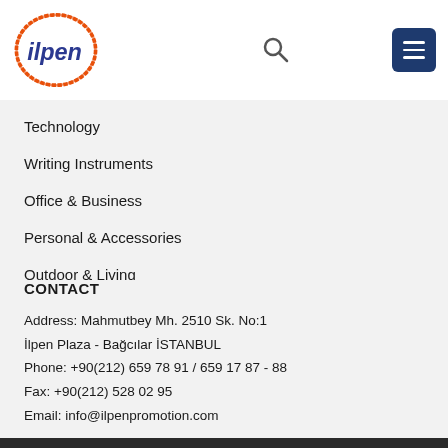[Figure (logo): ilpen logo — italic blue text 'ilpen' inside an orange oval/ellipse outline]
Technology
Writing Instruments
Office & Business
Personal & Accessories
Outdoor & Living
CONTACT
Address: Mahmutbey Mh. 2510 Sk. No:1
İlpen Plaza - Bağcılar İSTANBUL
Phone: +90(212) 659 78 91 / 659 17 87 - 88
Fax: +90(212) 528 02 95
Email: info@ilpenpromotion.com